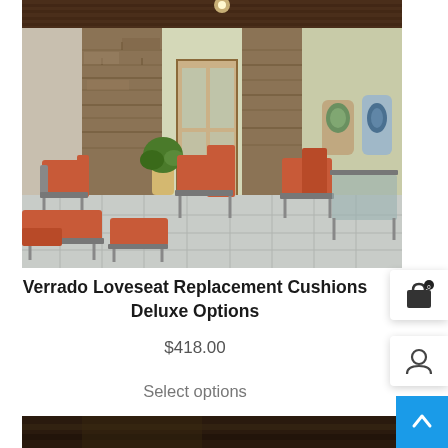[Figure (photo): Outdoor patio scene with terracotta/rust-colored cushioned chairs and ottomans on a tiled floor, stone pillar walls, and decorative wall art in background]
Verrado Loveseat Replacement Cushions Deluxe Options
$418.00
Select options
[Figure (photo): Partial second product image at bottom, dark background visible]